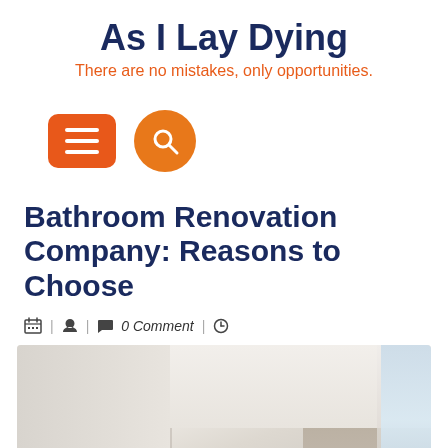As I Lay Dying
There are no mistakes, only opportunities.
[Figure (screenshot): Navigation icons: orange rounded-rectangle hamburger menu button and orange circle search button]
Bathroom Renovation Company: Reasons to Choose
| 0 Comment |
[Figure (photo): Interior room photo showing white ceiling with recessed lighting, a large pendant light fixture, curtains on the right, and a room divider]